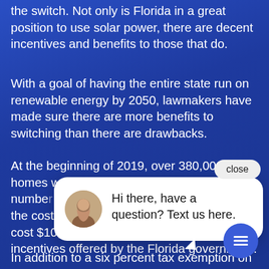the switch. Not only is Florida in a great position to use solar power, there are decent incentives and benefits to those that do.
With a goal of having the entire state run on renewable energy by 2050, lawmakers have made sure there are more benefits to switching than there are drawbacks.
At the beginning of 2019, over 380,000 homes were powered by solar energy. This number only increased as the cost of the lowest average would have cost $10,200 before any rebates or tax incentives offered by the Florida government.
[Figure (screenshot): Chat popup widget with avatar of a woman and text 'Hi there, have a question? Text us here.' with a close button and a chat icon circle at bottom right.]
In addition to a six percent tax exemption on